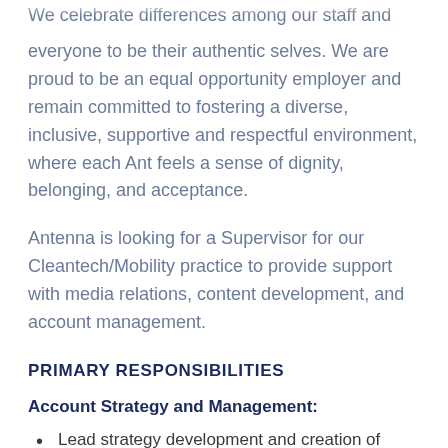We celebrate differences among our staff and encourage everyone to be their authentic selves. We are proud to be an equal opportunity employer and remain committed to fostering a diverse, inclusive, supportive and respectful environment, where each Ant feels a sense of dignity, belonging, and acceptance.
Antenna is looking for a Supervisor for our Cleantech/Mobility practice to provide support with media relations, content development, and account management.
PRIMARY RESPONSIBILITIES
Account Strategy and Management:
Lead strategy development and creation of plans for successful client programs
Facilitate and lead the operational and account management